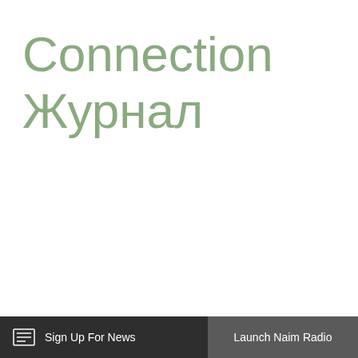Connection
Журнал
Sign Up For News | Launch Naim Radio